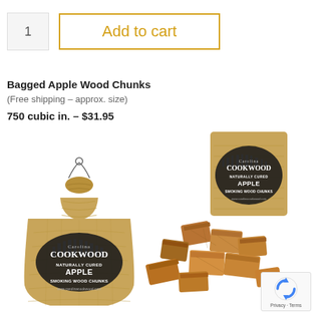1
Add to cart
Bagged Apple Wood Chunks
(Free shipping – approx. size)
750 cubic in. – $31.95
[Figure (photo): A burlap bag of Carolina Cookwood naturally cured Apple smoking wood chunks, tied at the top with wire, branded with the Cookwood logo. Next to it is an open bag showing apple wood chunks spilling out, with the branded Cookwood label visible.]
[Figure (logo): Google reCAPTCHA badge with shield icon and Privacy - Terms links]